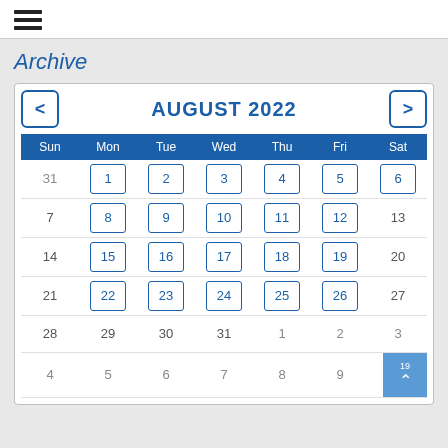≡ (hamburger menu icon)
Archive
[Figure (other): August 2022 calendar widget with navigation arrows, day-of-week header row (Sun Mon Tue Wed Thu Fri Sat), and date cells. Days 1-6, 8-12, 15-19, 22-26 shown with blue bordered boxes. Days 7, 13-14, 20-21, 27-31 shown without boxes. Next/prior month days shown in gray. Back-to-top button in bottom right.]